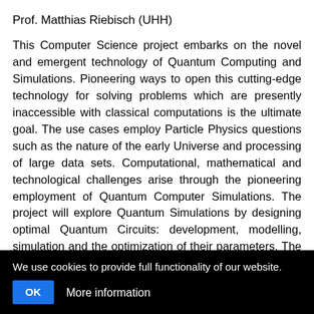Prof. Matthias Riebisch (UHH)
This Computer Science project embarks on the novel and emergent technology of Quantum Computing and Simulations. Pioneering ways to open this cutting-edge technology for solving problems which are presently inaccessible with classical computations is the ultimate goal. The use cases employ Particle Physics questions such as the nature of the early Universe and processing of large data sets. Computational, mathematical and technological challenges arise through the pioneering employment of Quantum Computer Simulations. The project will explore Quantum Simulations by designing optimal Quantum Circuits: development, modelling, simulation and the optimization of their parameters. The produced m... Quantum Co... Google and D-WAVE. Through hands-on experience, a
We use cookies to provide full functionality of our website. OK More information